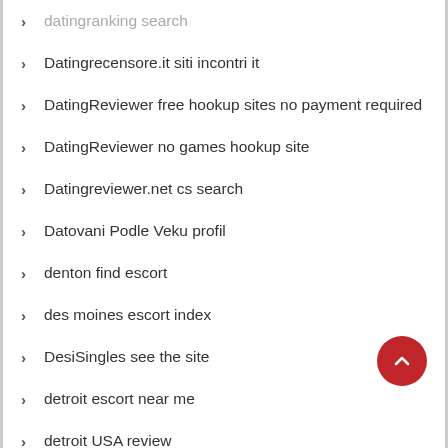datingranking search
Datingrecensore.it siti incontri it
DatingReviewer free hookup sites no payment required
DatingReviewer no games hookup site
Datingreviewer.net cs search
Datovani Podle Veku profil
denton find escort
des moines escort index
DesiSingles see the site
detroit escort near me
detroit USA review
Dil Mil costo
Dil Mil elite rencontre
dil mill visitors
Dine App co to jest
Dine app seiten